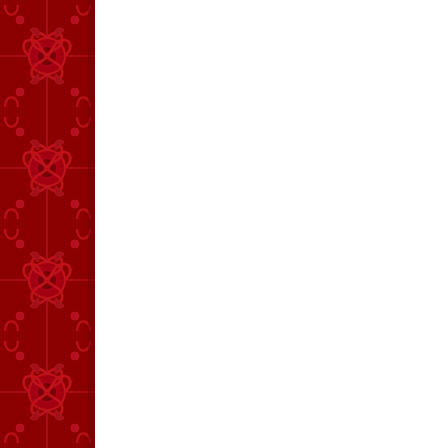[Figure (illustration): Red decorative floral/scroll pattern border on the left side of the page, dark red background with ornate embossed scroll and floral motifs]
Saturday
Guinea
Labels:
web site
To launc monolog
Winner w Friday (a
Winners
The nigh playwrigh
For the S -submit a -monolog